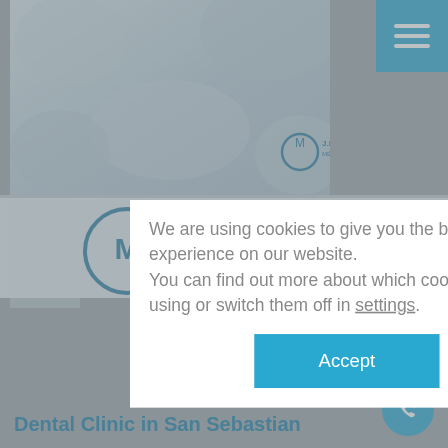[Figure (screenshot): Dental clinic website background with medical/dental photo at top, J.M. Arizala Médico Dentista logo, and bottom section with logo and 'Dental Clinic in San Sebastian' text. Blue hamburger menu button top right, blue phone button bottom right.]
We are using cookies to give you the best experience on our website.
You can find out more about which cookies we are using or switch them off in settings.
Accept
Dental Clinic in San Sebastian